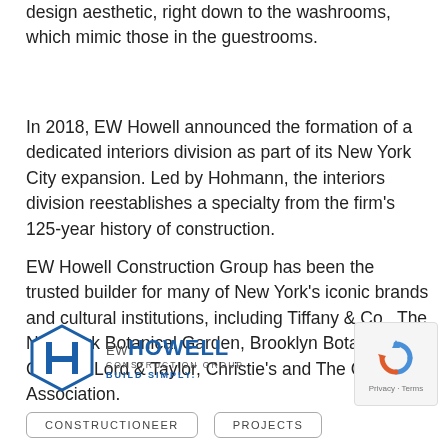design aesthetic, right down to the washrooms, which mimic those in the guestrooms.
In 2018, EW Howell announced the formation of a dedicated interiors division as part of its New York City expansion. Led by Hohmann, the interiors division reestablishes a specialty from the firm's 125-year history of construction.
EW Howell Construction Group has been the trusted builder for many of New York's iconic brands and cultural institutions, including Tiffany & Co., The New York Botanical Garden, Brooklyn Botanic Garden, Lord & Taylor, Christie's and The Century Association.
[Figure (logo): EW Howell Construction Group logo — hexagon with H, text EW HOWELL CONSTRUCTION GROUP BUILD SIMPLY.]
[Figure (logo): reCAPTCHA logo with Privacy · Terms label]
CONSTRUCTIONEER
PROJECTS